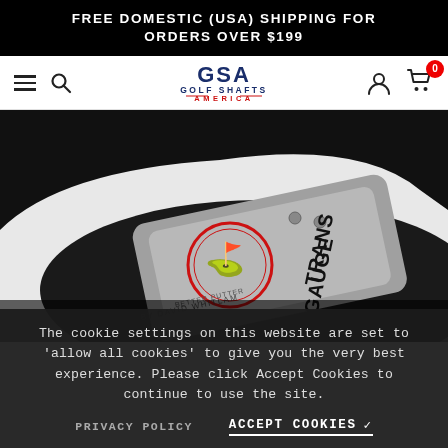FREE DOMESTIC (USA) SHIPPING FOR ORDERS OVER $199
[Figure (logo): GSA Golf Shafts America logo with navigation bar including hamburger menu, search icon, user icon, and cart with badge showing 0]
[Figure (photo): Close-up photo of a Trans Gauge putter head by David Whitlam with 'Better Putter' branding, silver and black finish with red circular logo]
The cookie settings on this website are set to 'allow all cookies' to give you the very best experience. Please click Accept Cookies to continue to use the site.
PRIVACY POLICY    ACCEPT COOKIES ✓